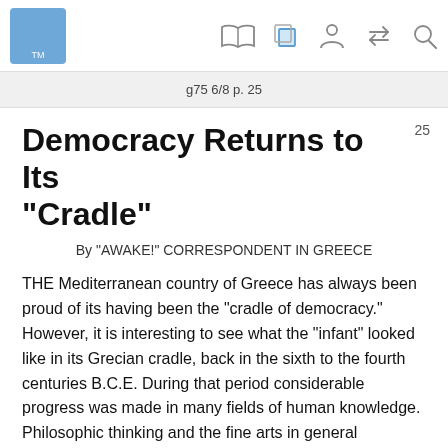g75 6/8 p. 25
Democracy Returns to Its “Cradle”
By “AWAKE!” CORRESPONDENT IN GREECE
THE Mediterranean country of Greece has always been proud of its having been the “cradle of democracy.” However, it is interesting to see what the “infant” looked like in its Grecian cradle, back in the sixth to the fourth centuries B.C.E. During that period considerable progress was made in many fields of human knowledge. Philosophic thinking and the fine arts in general broadened out, yet the Greek style of democracy remained quite restrictive and applied only